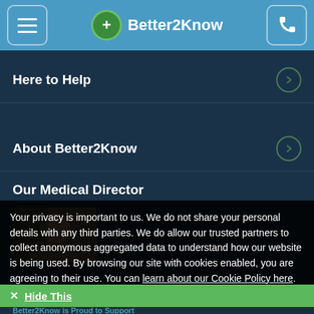Better2Know
Here to Help
About Better2Know
Our Medical Director
[Figure (photo): Photo of a person outdoors, partial view of face and upper body]
Your privacy is important to us. We do not share your personal details with any third parties. We do allow our trusted partners to collect anonymous aggregated data to understand how our website is being used. By browsing our site with cookies enabled, you are agreeing to their use. You can learn about our Cookie Policy here.
✕ Hide This
Better2Know is Proud to Support